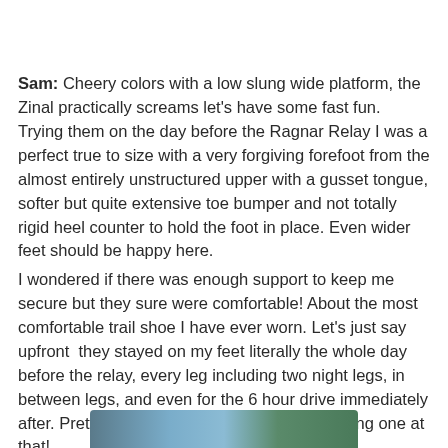Sam: Cheery colors with a low slung wide platform, the Zinal practically screams let's have some fast fun. Trying them on the day before the Ragnar Relay I was a perfect true to size with a very forgiving forefoot from the almost entirely unstructured upper with a gusset tongue, softer but quite extensive toe bumper and not totally rigid heel counter to hold the foot in place. Even wider feet should be happy here.
I wondered if there was enough support to keep me secure but they sure were comfortable! About the most comfortable trail shoe I have ever worn. Let's just say upfront they stayed on my feet literally the whole day before the relay, every leg including two night legs, in between legs, and even for the 6 hour drive immediately after. Pretty amazing for a trail shoe and a racing one at that!
[Figure (photo): Partial photo strip visible at bottom of page showing trail shoes or outdoor/running imagery]